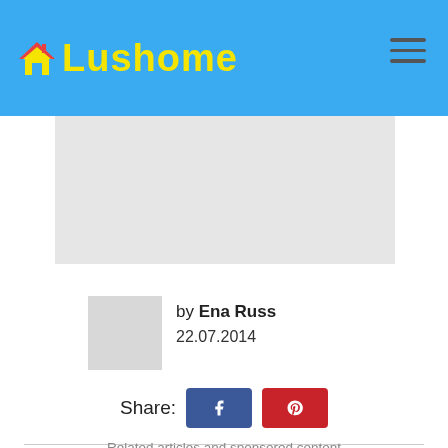Lushome
[Figure (photo): Placeholder image area (light gray rectangle)]
by Ena Russ
22.07.2014
Share:
Related articles and sponsored content